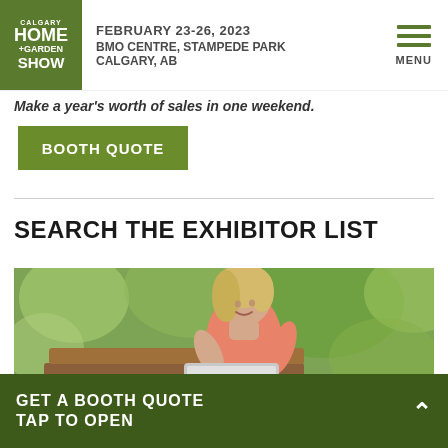CALGARY HOME + GARDEN SHOW | FEBRUARY 23-26, 2023 | BMO CENTRE, STAMPEDE PARK | CALGARY, AB
Make a year's worth of sales in one weekend.
BOOTH QUOTE
SEARCH THE EXHIBITOR LIST
[Figure (photo): Woman sitting on a bench outdoors using a laptop/tablet, smiling, green foliage background]
GET A BOOTH QUOTE
TAP TO OPEN